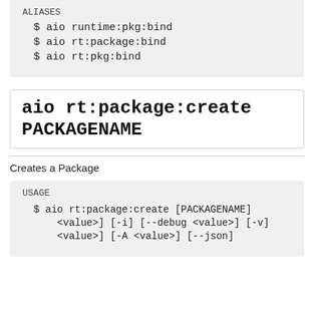ALIASES
$ aio runtime:pkg:bind
$ aio rt:package:bind
$ aio rt:pkg:bind
aio rt:package:create PACKAGENAME
Creates a Package
USAGE
$ aio rt:package:create [PACKAGENAME] <value>] [-i] [--debug <value>] [-v] <value>] [-A <value>] [--json]